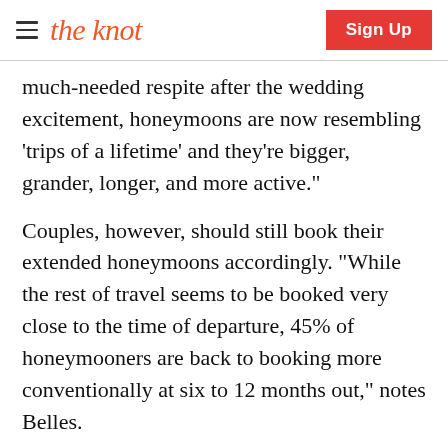the knot | Sign Up
much-needed respite after the wedding excitement, honeymoons are now resembling 'trips of a lifetime' and they're bigger, grander, longer, and more active."
Couples, however, should still book their extended honeymoons accordingly. "While the rest of travel seems to be booked very close to the time of departure, 45% of honeymooners are back to booking more conventionally at six to 12 months out," notes Belles.
ADVERTISEMENT
[Figure (photo): Partial view of an advertisement image showing green fabric or material]